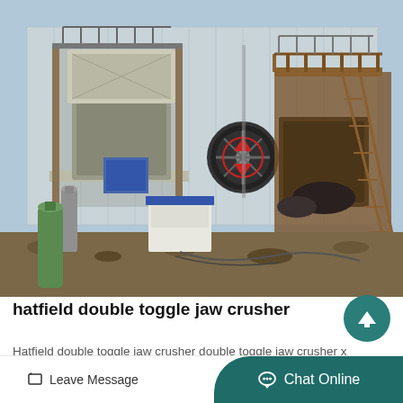[Figure (photo): Industrial jaw crusher machinery installation with metal frame structure, conveyor components, stairs, gas cylinders, and white hydraulic unit, set in an outdoor industrial yard with corrugated metal building in background.]
hatfield double toggle jaw crusher
Hatfield double toggle jaw crusher double toggle jaw crusher x
Leave Message
Chat Online